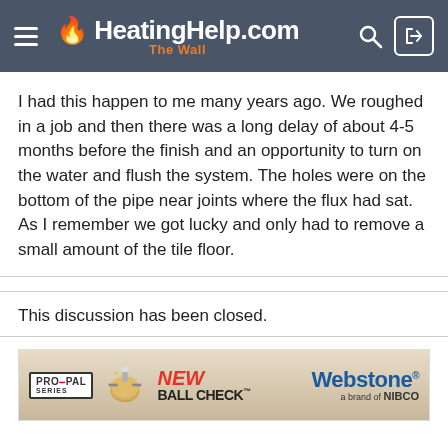HeatingHelp.com — The Wall
I had this happen to me many years ago. We roughed in a job and then there was a long delay of about 4-5 months before the finish and an opportunity to turn on the water and flush the system. The holes were on the bottom of the pipe near joints where the flux had sat. As I remember we got lucky and only had to remove a small amount of the tile floor.
This discussion has been closed.
[Figure (photo): Advertisement banner for Webstone PRO-PAL SERIES New Ball Check valve, a brand of NIBCO]